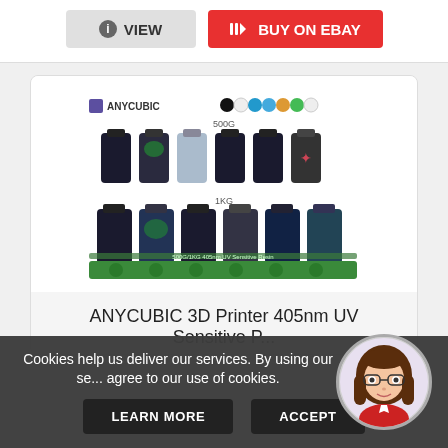[Figure (screenshot): Two buttons: VIEW (grey) and BUY ON EBAY (red) at top of page]
[Figure (photo): ANYCUBIC 3D Printer 405nm UV Sensitive Resin product image showing multiple bottles in 500G and 1KG sizes with color swatches]
ANYCUBIC 3D Printer 405nm UV Sensitive P...
Cookies help us deliver our services. By using our se... agree to our use of cookies.
LEARN MORE
ACCEPT